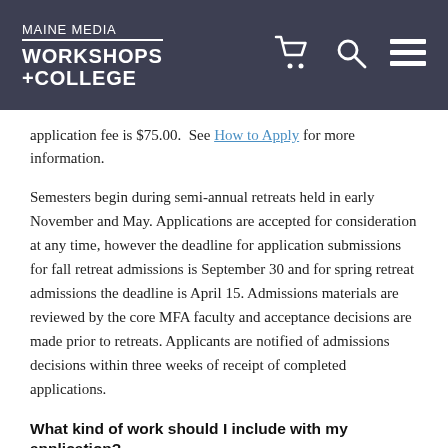MAINE MEDIA WORKSHOPS +COLLEGE
application fee is $75.00.  See How to Apply for more information.
Semesters begin during semi-annual retreats held in early November and May. Applications are accepted for consideration at any time, however the deadline for application submissions for fall retreat admissions is September 30 and for spring retreat admissions the deadline is April 15. Admissions materials are reviewed by the core MFA faculty and acceptance decisions are made prior to retreats. Applicants are notified of admissions decisions within three weeks of receipt of completed applications.
What kind of work should I include with my application?
The MFA is a Fine Art degree. The faculty would like to see recent work (done within the last two years) that is competent technically, is representative of your creative focus, and makes a coherent